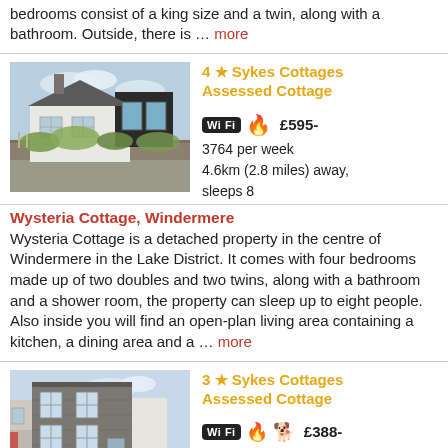bedrooms consist of a king size and a twin, along with a bathroom. Outside, there is … more
[Figure (photo): Exterior photo of a cottage with stone walls and modern extension, Windermere area]
4 ★ Sykes Cottages Assessed Cottage
WiFi | Fire | £595-3764 per week
4.6km (2.8 miles) away, sleeps 8
Wysteria Cottage, Windermere
Wysteria Cottage is a detached property in the centre of Windermere in the Lake District. It comes with four bedrooms made up of two doubles and two twins, along with a bathroom and a shower room, the property can sleep up to eight people. Also inside you will find an open-plan living area containing a kitchen, a dining area and a … more
[Figure (photo): Exterior photo of a stone terrace cottage on a narrow street]
3 ★ Sykes Cottages Assessed Cottage
WiFi | Fire | Dog | £388-1858 per week
4.6km (2.9 miles) away,